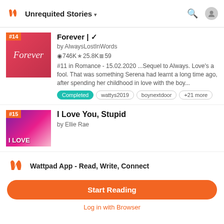Unrequited Stories
Forever | ✓
by AlwaysLostInWords
746K ★25.8K≡59
#11 in Romance - 15.02.2020 ...Sequel to Always. Love's a fool. That was something Serena had learnt a long time ago, after spending her childhood in love with the boy...
Completed
wattys2019
boynextdoor
+21 more
I Love You, Stupid
by Ellie Rae
Wattpad App - Read, Write, Connect
Start Reading
Log in with Browser